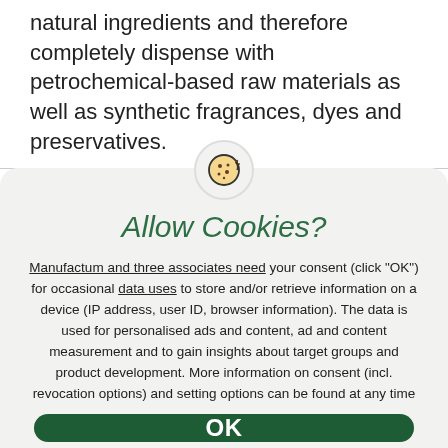natural ingredients and therefore completely dispense with petrochemical-based raw materials as well as synthetic fragrances, dyes and preservatives.
Allow Cookies?
Manufactum and three associates need your consent (click "OK") for occasional data uses to store and/or retrieve information on a device (IP address, user ID, browser information). The data is used for personalised ads and content, ad and content measurement and to gain insights about target groups and product development. More information on consent (incl. revocation options) and setting options can be found at any time
OK
Reject Cookies
More information